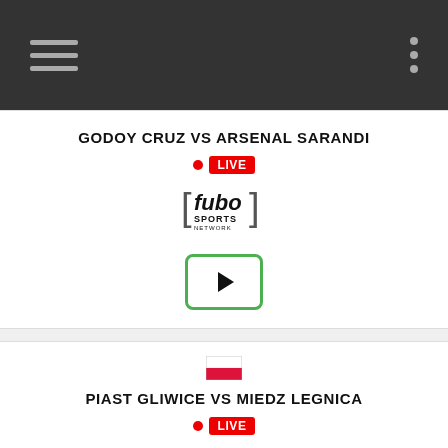Navigation bar with hamburger menu and dots menu
GODOY CRUZ VS ARSENAL SARANDI
[Figure (infographic): LIVE badge with red dot indicator]
[Figure (logo): Fubo Sports Network logo]
[Figure (infographic): Green play button]
[Figure (infographic): Poland flag icon]
PIAST GLIWICE VS MIEDZ LEGNICA
[Figure (infographic): LIVE badge with red dot indicator]
[Figure (logo): Fubo Sports Network logo]
[Figure (infographic): Green play button]
[Figure (infographic): Poland flag icon (partial)]